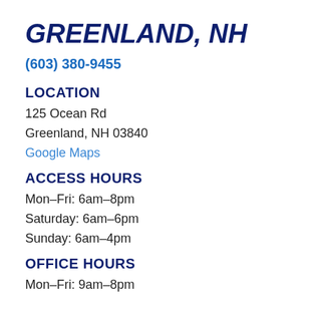GREENLAND, NH
(603) 380-9455
LOCATION
125 Ocean Rd
Greenland, NH 03840
Google Maps
ACCESS HOURS
Mon–Fri: 6am–8pm
Saturday: 6am–6pm
Sunday: 6am–4pm
OFFICE HOURS
Mon–Fri: 9am–8pm